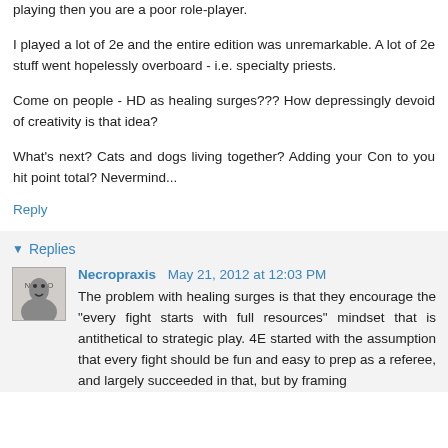playing then you are a poor role-player.
I played a lot of 2e and the entire edition was unremarkable. A lot of 2e stuff went hopelessly overboard - i.e. specialty priests.
Come on people - HD as healing surges??? How depressingly devoid of creativity is that idea?
What's next? Cats and dogs living together? Adding your Con to you hit point total? Nevermind...
Reply
Replies
Necropraxis  May 21, 2012 at 12:03 PM
The problem with healing surges is that they encourage the "every fight starts with full resources" mindset that is antithetical to strategic play. 4E started with the assumption that every fight should be fun and easy to prep as a referee, and largely succeeded in that, but by framing